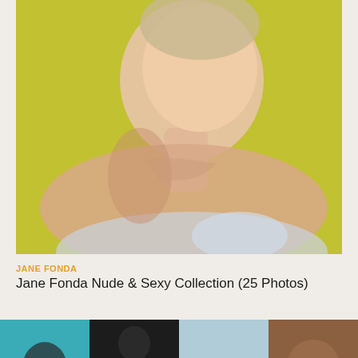[Figure (photo): Portrait photo of a young woman with blonde updo hair, pearl earring, wearing a strapless light blue/silver beaded dress, posed against a yellow-green background. Close-up showing face, neck, shoulders and upper chest.]
JANE FONDA
Jane Fonda Nude & Sexy Collection (25 Photos)
[Figure (photo): Row of four thumbnail photos showing different people or scenes: teal/blue background with dark hair figure, dark/black background with partially visible figure, light blue/grey background, brown-toned photo with back of person's head.]